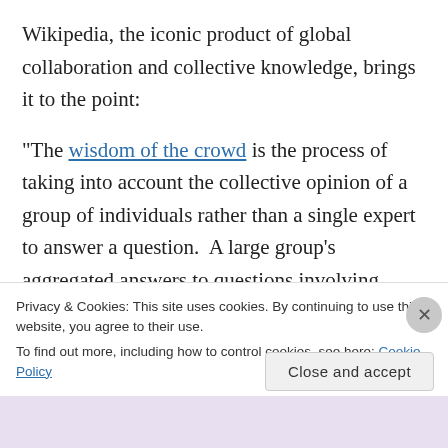Wikipedia, the iconic product of global collaboration and collective knowledge, brings it to the point:
“The wisdom of the crowd is the process of taking into account the collective opinion of a group of individuals rather than a single expert to answer a question.  A large group’s aggregated answers to questions involving quantity estimation, general world knowledge, and spatial reasoning has generally been found to be as good as, and often better than, the answer given by any of the individuals within the
Privacy & Cookies: This site uses cookies. By continuing to use this website, you agree to their use.
To find out more, including how to control cookies, see here: Cookie Policy
Close and accept